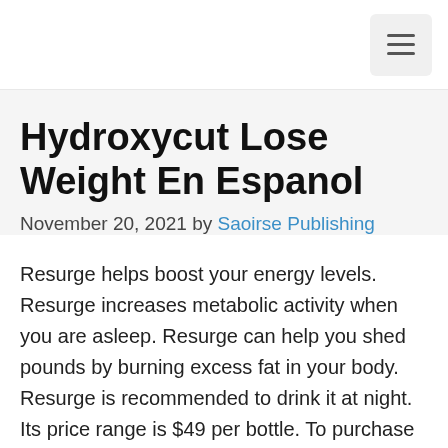≡
Hydroxycut Lose Weight En Espanol
November 20, 2021 by Saoirse Publishing
Resurge helps boost your energy levels. Resurge increases metabolic activity when you are asleep. Resurge can help you shed pounds by burning excess fat in your body. Resurge is recommended to drink it at night. Its price range is $49 per bottle. To purchase